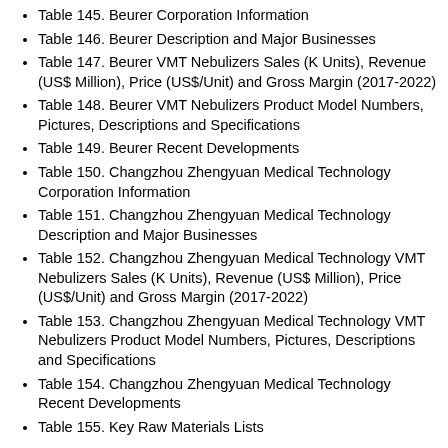Table 145. Beurer Corporation Information
Table 146. Beurer Description and Major Businesses
Table 147. Beurer VMT Nebulizers Sales (K Units), Revenue (US$ Million), Price (US$/Unit) and Gross Margin (2017-2022)
Table 148. Beurer VMT Nebulizers Product Model Numbers, Pictures, Descriptions and Specifications
Table 149. Beurer Recent Developments
Table 150. Changzhou Zhengyuan Medical Technology Corporation Information
Table 151. Changzhou Zhengyuan Medical Technology Description and Major Businesses
Table 152. Changzhou Zhengyuan Medical Technology VMT Nebulizers Sales (K Units), Revenue (US$ Million), Price (US$/Unit) and Gross Margin (2017-2022)
Table 153. Changzhou Zhengyuan Medical Technology VMT Nebulizers Product Model Numbers, Pictures, Descriptions and Specifications
Table 154. Changzhou Zhengyuan Medical Technology Recent Developments
Table 155. Key Raw Materials Lists